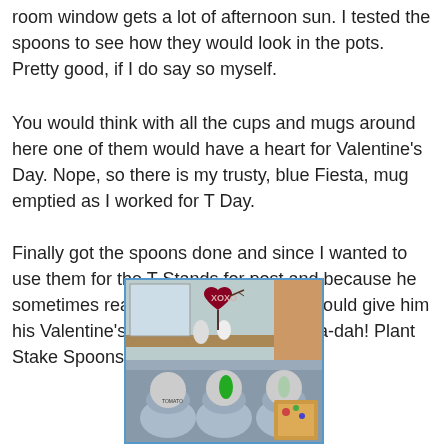room window gets a lot of afternoon sun. I tested the spoons to see how they would look in the pots. Pretty good, if I do say so myself.
You would think with all the cups and mugs around here one of them would have a heart for Valentine's Day. Nope, so there is my trusty, blue Fiesta, mug emptied as I worked for T Day.
Finally got the spoons done and since I wanted to use them for the T Stands for post and because he sometimes reads my blog, I asked if I could give him his Valentine's Day present early.  So ta-dah! Plant Stake Spoons.
[Figure (photo): Photo of decorated plant stake spoons with a dark red heart sign reading XOXO on top, and spoon heads painted with garden vegetables (tomato, pepper, etc.) arranged in pots, with a colorful floral background.]